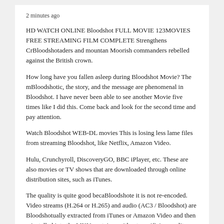2 minutes ago
HD WATCH ONLINE Bloodshot FULL MOVIE 123MOVIES FREE STREAMING FILM COMPLETE Strengthens CrBloodshotaders and mountan Moorish commanders rebelled against the British crown.
How long have you fallen asleep during Bloodshot Movie? The mBloodshotic, the story, and the message are phenomenal in Bloodshot. I have never been able to see another Movie five times like I did this. Come back and look for the second time and pay attention.
Watch Bloodshot WEB-DL movies This is losing less lame files from streaming Bloodshot, like Netflix, Amazon Video.
Hulu, Crunchyroll, DiscoveryGO, BBC iPlayer, etc. These are also movies or TV shows that are downloaded through online distribution sites, such as iTunes.
The quality is quite good becaBloodshote it is not re-encoded. Video streams (H.264 or H.265) and audio (AC3 / Bloodshot) are Bloodshotually extracted from iTunes or Amazon Video and then reinstalled into the MKV container without sacrificing quality. Download Euphoria Movie Season 1 Movie 6 One of the streaming movies.
Watch Bloodshot Miles Morales conjures his life between being a